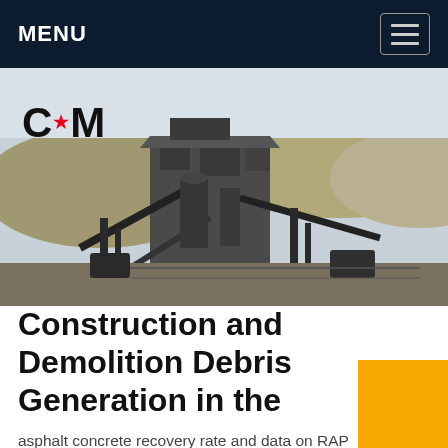MENU
[Figure (photo): Industrial quarry/construction and demolition site with heavy machinery, conveyor belts, and processing equipment. CCM logo overlaid in top-left corner.]
Construction and Demolition Debris Generation in the
asphalt concrete recovery rate and data on RAP consumption published by the National Asphalt Pavement Association (NAPA) and the U.S. Department of Transportation Federal Highway Administration (FHWA). The RAP data are directly related to total asphalt concrete waste generation